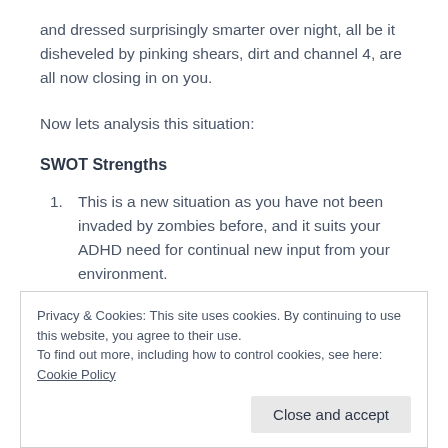and dressed surprisingly smarter over night, all be it disheveled by pinking shears, dirt and channel 4, are all now closing in on you.
Now lets analysis this situation:
SWOT Strengths
This is a new situation as you have not been invaded by zombies before, and it suits your ADHD need for continual new input from your environment.
Privacy & Cookies: This site uses cookies. By continuing to use this website, you agree to their use.
To find out more, including how to control cookies, see here: Cookie Policy
Close and accept